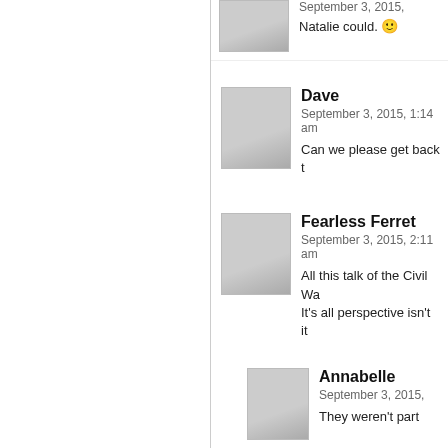September 3, 2015, [time]
Natalie could. 🙂
Dave
September 3, 2015, 1:14 am
Can we please get back t
Fearless Ferret
September 3, 2015, 2:11 am
All this talk of the Civil Wa
It's all perspective isn't it
Annabelle
September 3, 2015,
They weren't part
Typeminer
September 4, 2015,
I don't care if he A
Because Irish and